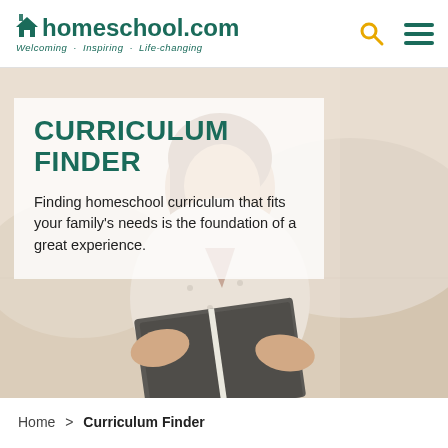Homeschool.com — Welcoming · Inspiring · Life-changing
[Figure (photo): Woman reading a book, photographed indoors on a light sofa background, used as hero banner image for Curriculum Finder page]
CURRICULUM FINDER
Finding homeschool curriculum that fits your family's needs is the foundation of a great experience.
Home > Curriculum Finder